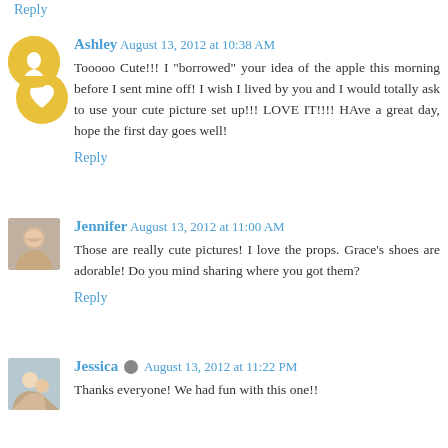Reply
Ashley  August 13, 2012 at 10:38 AM
Tooooo Cute!!! I "borrowed" your idea of the apple this morning before I sent mine off! I wish I lived by you and I would totally ask to use your cute picture set up!!! LOVE IT!!!! HAve a great day, hope the first day goes well!
Reply
Jennifer  August 13, 2012 at 11:00 AM
Those are really cute pictures! I love the props. Grace's shoes are adorable! Do you mind sharing where you got them?
Reply
Jessica  August 13, 2012 at 11:22 PM
Thanks everyone! We had fun with this one!!